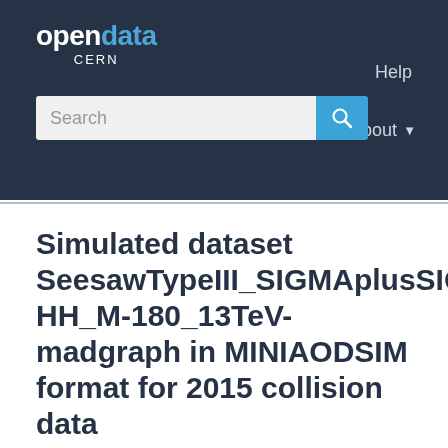[Figure (logo): CERN Open Data portal logo with 'opendata' text (open in white, data in blue) and 'CERN' subtitle]
Help   About
Simulated dataset SeesawTypeIII_SIGMAplusSIGMA-HH_M-180_13TeV-madgraph in MINIAODSIM format for 2015 collision data
/SeesawTypeIII_SIGMAplusSIGMA-HH_M-180_13TeV-madgraph/RunIIFall15MiniAODv2-